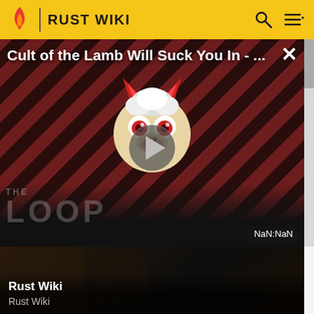RUST WIKI
[Figure (screenshot): Video overlay panel showing 'Cult of the Lamb Will Suck You In - ...' with diagonal red/dark stripe background, a cartoon character mascot, play button, THE LOOP watermark, and NaN:NaN duration badge]
[Figure (screenshot): Bottom video card showing a dark game scene thumbnail with 'Rust Wiki' title and 'Rust Wiki' subtitle in white text]